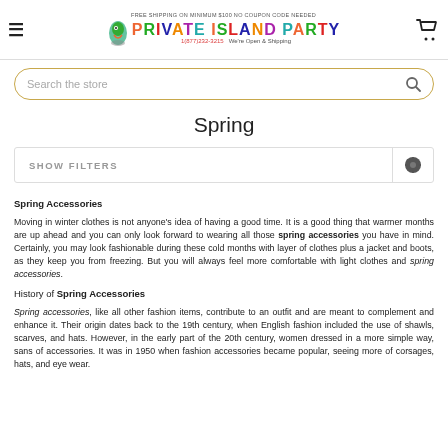FREE SHIPPING ON MINIMUM $100 NO COUPON CODE NEEDED | PRIVATE ISLAND PARTY | 1(877)232-3215 | We're Open & Shipping
Spring
Spring Accessories
Moving in winter clothes is not anyone's idea of having a good time. It is a good thing that warmer months are up ahead and you can only look forward to wearing all those spring accessories you have in mind. Certainly, you may look fashionable during these cold months with layer of clothes plus a jacket and boots, as they keep you from freezing. But you will always feel more comfortable with light clothes and spring accessories.
History of Spring Accessories
Spring accessories, like all other fashion items, contribute to an outfit and are meant to complement and enhance it. Their origin dates back to the 19th century, when English fashion included the use of shawls, scarves, and hats. However, in the early part of the 20th century, women dressed in a more simple way, sans of accessories. It was in 1950 when fashion accessories became popular, seeing more of corsages, hats, and eye wear.